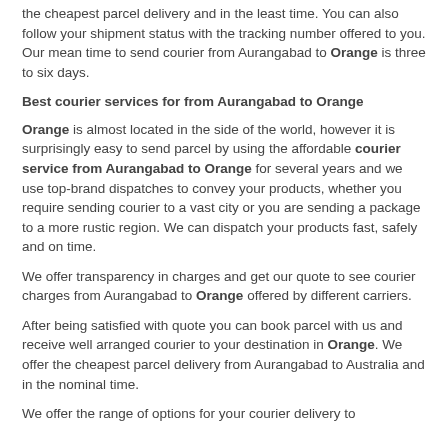the cheapest parcel delivery and in the least time. You can also follow your shipment status with the tracking number offered to you. Our mean time to send courier from Aurangabad to Orange is three to six days.
Best courier services for from Aurangabad to Orange
Orange is almost located in the side of the world, however it is surprisingly easy to send parcel by using the affordable courier service from Aurangabad to Orange for several years and we use top-brand dispatches to convey your products, whether you require sending courier to a vast city or you are sending a package to a more rustic region. We can dispatch your products fast, safely and on time.
We offer transparency in charges and get our quote to see courier charges from Aurangabad to Orange offered by different carriers.
After being satisfied with quote you can book parcel with us and receive well arranged courier to your destination in Orange. We offer the cheapest parcel delivery from Aurangabad to Australia and in the nominal time.
We offer the range of options for your courier delivery to